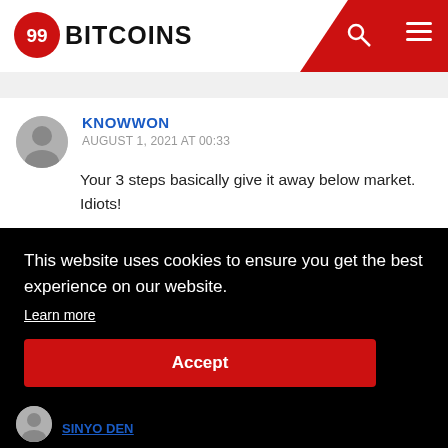99BITCOINS
KNOWWON
AUGUST 1, 2021 AT 00:33
Your 3 steps basically give it away below market. Idiots!
This website uses cookies to ensure you get the best experience on our website.
Learn more
Accept